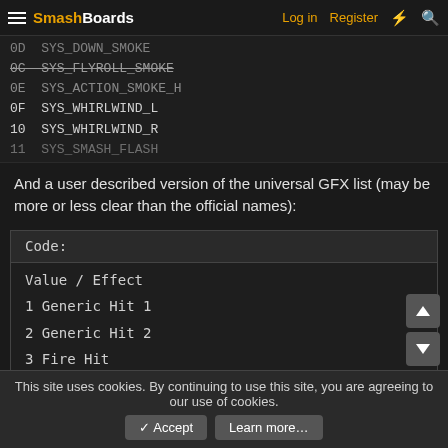SmashBoards — Log in | Register
0D SYS_DOWN_SMOKE
0C SYS_FLYROLL_SMOKE
0E SYS_ACTION_SMOKE_H
0F SYS_WHIRLWIND_L
10 SYS_WHIRLWIND_R
11 SYS_SMASH_FLASH
And a user described version of the universal GFX list (may be more or less clear than the official names):
| Value / Effect |
| --- |
| 1 Generic Hit 1 |
| 2 Generic Hit 2 |
| 3 Fire Hit |
| 4 Lightning Hit |
| 5 Slash Hit |
| 6 Slash Wave Hit |
| 7 Heavy Landing |
| 8 Light Landing |
This site uses cookies. By continuing to use this site, you are agreeing to our use of cookies.